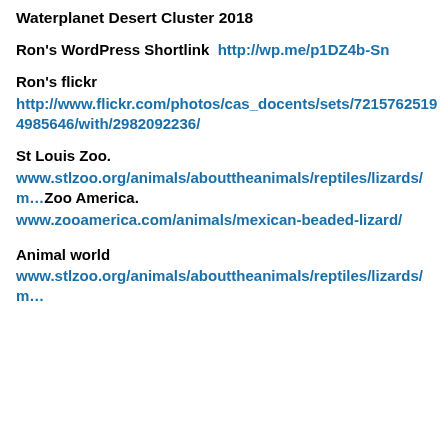Waterplanet Desert Cluster 2018
Ron's WordPress Shortlink  http://wp.me/p1DZ4b-Sn
Ron's flickr
http://www.flickr.com/photos/cas_docents/sets/72157625194985646/with/2982092236/
St Louis Zoo.
www.stlzoo.org/animals/abouttheanimals/reptiles/lizards/m…Zoo America.
www.zooamerica.com/animals/mexican-beaded-lizard/
Animal world
www.stlzoo.org/animals/abouttheanimals/reptiles/lizards/m…